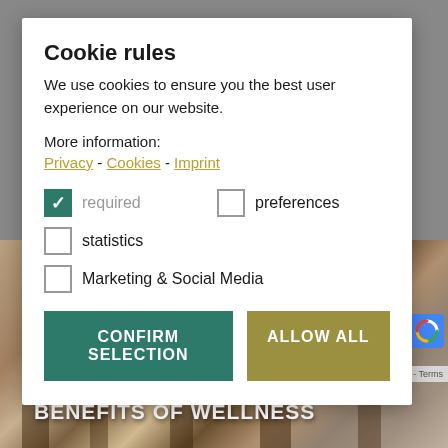Cookie rules
We use cookies to ensure you the best user experience on our website.
More information:
Privacy - Cookies - Imprint
required (checked)
preferences (unchecked)
statistics (unchecked)
Marketing & Social Media (unchecked)
CONFIRM SELECTION
ALLOW ALL
FOR THOSE WHO LOVE THE BENEFITS OF WELLNESS